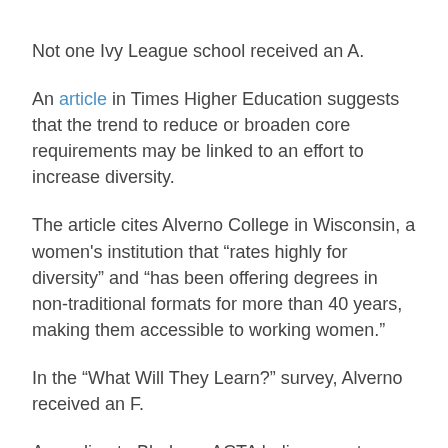Not one Ivy League school received an A.
An article in Times Higher Education suggests that the trend to reduce or broaden core requirements may be linked to an effort to increase diversity.
The article cites Alverno College in Wisconsin, a women's institution that “rates highly for diversity” and “has been offering degrees in non-traditional formats for more than 40 years, making them accessible to working women.”
In the “What Will They Learn?” survey, Alverno received an F.
According to Bledsoe, ACTA believes a strong core curriculum need not overrule those other